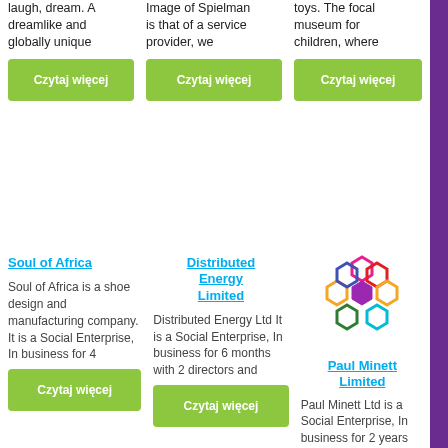laugh, dream. A dreamlike and globally unique
Image of Spielman is that of a service provider, we
toys. The focal museum for children, where
Czytaj więcej
Czytaj więcej
Czytaj więcej
Soul of Africa
Distributed Energy Limited
[Figure (logo): Colorful hexagon flower logo for Paul Minett Limited]
Paul Minett Limited
Soul of Africa is a shoe design and manufacturing company. It is a Social Enterprise, In business for 4
Distributed Energy Ltd  It is a Social Enterprise, In business for 6 months with 2 directors and
Paul Minett Ltd is a Social Enterprise, In business for 2 years with one Director and a
Czytaj więcej
Czytaj więcej